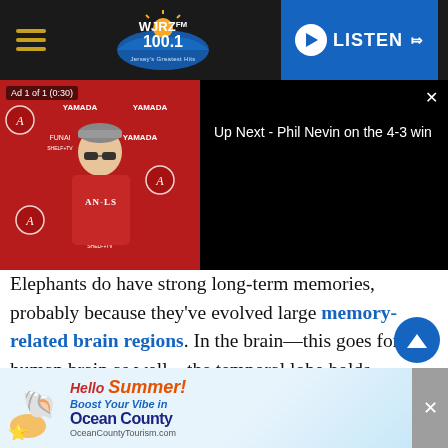[Figure (screenshot): WJRZ 100.1 FM radio station website navigation bar with hamburger menu, logo, and blue LISTEN button]
[Figure (screenshot): Video player showing an LA Angels press conference with ad overlay reading 'Ad 1 of 1 (0:30)' and 'Up Next - Phil Nevin on the 4-3 win' on the right side]
Elephants do have strong long-term memories, probably because they've evolved large memory-related brain regions. In the brain—this goes for the human brain as well—the temporal lobe holds important structures for making and storing memories, and this region is well-developed in elephants.
[Figure (screenshot): Ocean County Tourism advertisement: 'Hello Summer! Boost Your Vibe in Ocean County OceanCountyTourism.com']